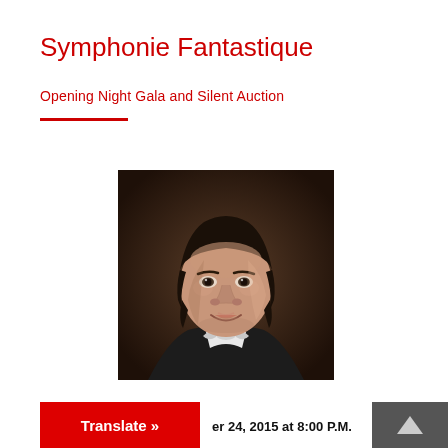Symphonie Fantastique
Opening Night Gala and Silent Auction
[Figure (photo): Portrait photograph of a male conductor wearing formal black attire with white bow tie, photographed against a dark brown background]
Translate »
er 24, 2015 at 8:00 P.M.